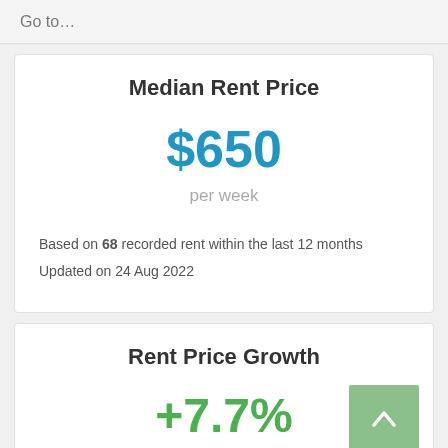Go to…
Median Rent Price
$650
per week
Based on 68 recorded rent within the last 12 months
Updated on 24 Aug 2022
Rent Price Growth
+7.7%